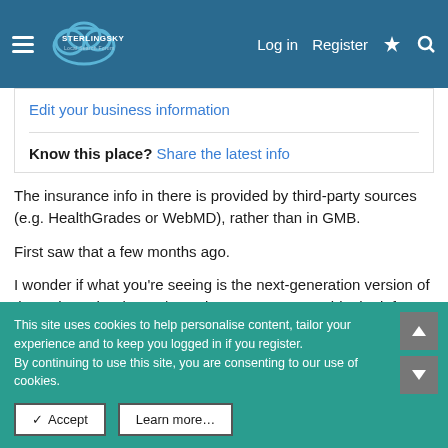Sterling Sky Local Search Forum — Log in | Register
Edit your business information
Know this place? Share the latest info
The insurance info in there is provided by third-party sources (e.g. HealthGrades or WebMD), rather than in GMB.
First saw that a few months ago.
I wonder if what you're seeing is the next-generation version of that, where the doctor / practice owner can provide the info directly, rather than rely on a third-party source to get it right.
This site uses cookies to help personalise content, tailor your experience and to keep you logged in if you register.
By continuing to use this site, you are consenting to our use of cookies.